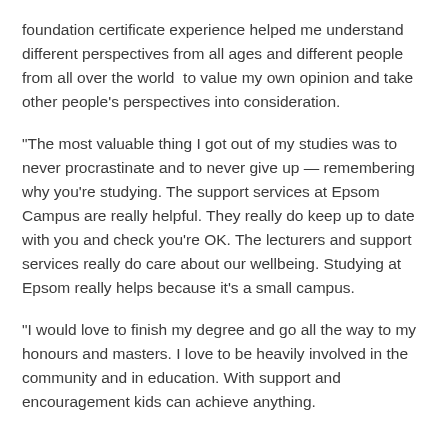foundation certificate experience helped me understand different perspectives from all ages and different people from all over the world to value my own opinion and take other people's perspectives into consideration.
“The most valuable thing I got out of my studies was to never procrastinate and to never give up — remembering why you’re studying. The support services at Epsom Campus are really helpful. They really do keep up to date with you and check you’re OK. The lecturers and support services really do care about our wellbeing. Studying at Epsom really helps because it’s a small campus.
“I would love to finish my degree and go all the way to my honours and masters. I love to be heavily involved in the community and in education. With support and encouragement kids can achieve anything.